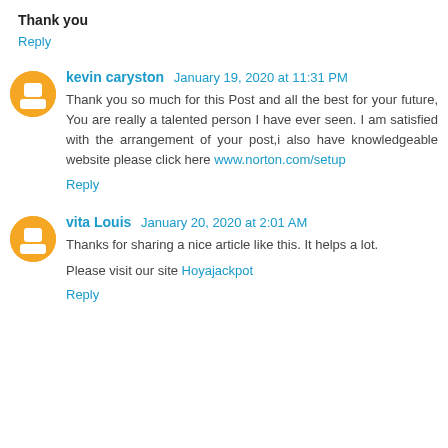Thank you
Reply
kevin caryston  January 19, 2020 at 11:31 PM
Thank you so much for this Post and all the best for your future, You are really a talented person I have ever seen. I am satisfied with the arrangement of your post,i also have knowledgeable website please click here www.norton.com/setup
Reply
vita Louis  January 20, 2020 at 2:01 AM
Thanks for sharing a nice article like this. It helps a lot.
Please visit our site Hoyajackpot
Reply